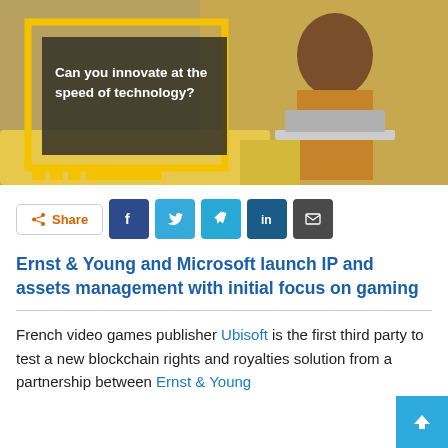[Figure (photo): Hero image of a man working on a laptop on a yellow sofa, with a yellow-bordered dark overlay box containing the text 'Can you innovate at the speed of technology?' and yellow squares/dots at the bottom left.]
Share (social share buttons: Facebook, Twitter, Telegram, LinkedIn, Email)
Ernst & Young and Microsoft launch IP and assets management with initial focus on gaming
French video games publisher Ubisoft is the first third party to test a new blockchain rights and royalties solution from a partnership between Ernst & Young